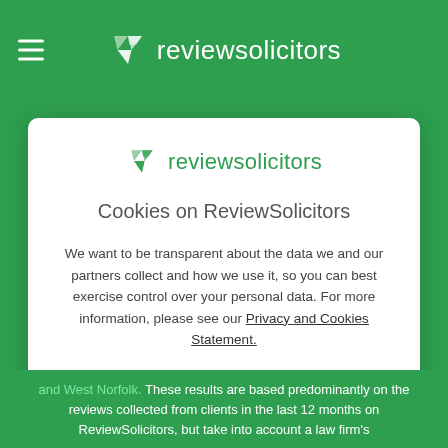reviewsolicitors
[Figure (logo): ReviewSolicitors logo with green geometric checkmark and text 'reviewsolicitors' in modal]
Cookies on ReviewSolicitors
We want to be transparent about the data we and our partners collect and how we use it, so you can best exercise control over your personal data. For more information, please see our Privacy and Cookies Statement.
Manage settings
Accept
and West Norfolk. These results are based predominantly on the reviews collected from clients in the last 12 months on ReviewSolicitors, but take into account a law firm's